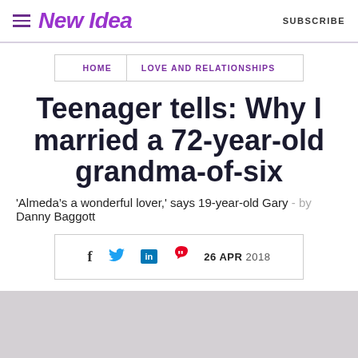New Idea — SUBSCRIBE
HOME  LOVE AND RELATIONSHIPS
Teenager tells: Why I married a 72-year-old grandma-of-six
'Almeda's a wonderful lover,' says 19-year-old Gary - by Danny Baggott
26 APR 2018
[Figure (photo): Gray image placeholder / article photo below the header]